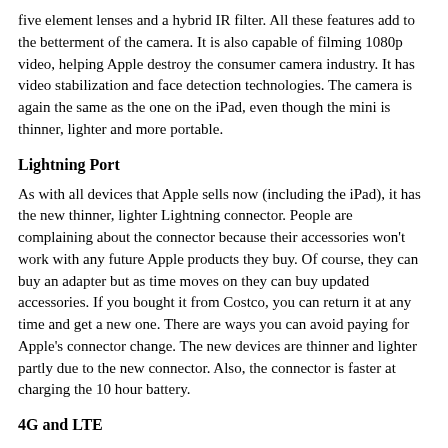five element lenses and a hybrid IR filter. All these features add to the betterment of the camera. It is also capable of filming 1080p video, helping Apple destroy the consumer camera industry. It has video stabilization and face detection technologies. The camera is again the same as the one on the iPad, even though the mini is thinner, lighter and more portable.
Lightning Port
As with all devices that Apple sells now (including the iPad), it has the new thinner, lighter Lightning connector. People are complaining about the connector because their accessories won't work with any future Apple products they buy. Of course, they can buy an adapter but as time moves on they can buy updated accessories. If you bought it from Costco, you can return it at any time and get a new one. There are ways you can avoid paying for Apple's connector change. The new devices are thinner and lighter partly due to the new connector. Also, the connector is faster at charging the 10 hour battery.
4G and LTE
One of the best things Apple did with the iPad mini is make it available for 4G and LTE instead of settling for 3G. It also has the Nano-SIM card instead of the bigger Micro-SIM card.